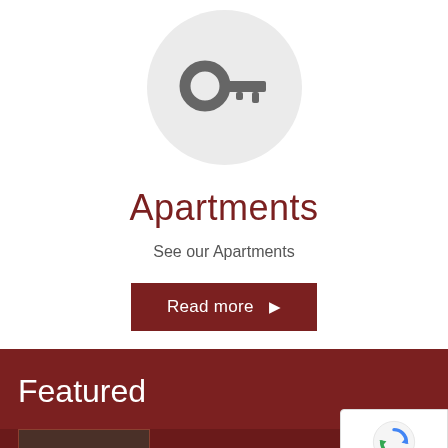[Figure (illustration): A large light gray circle containing a dark gray key icon (house/apartment key shape) centered within it.]
Apartments
See our Apartments
Read more ▶
Featured
[Figure (photo): Partial view of a room/apartment interior at the bottom of the page, very cropped showing furniture.]
[Figure (other): Google reCAPTCHA badge with spinning arrows logo and 'Privacy - Terms' text links.]